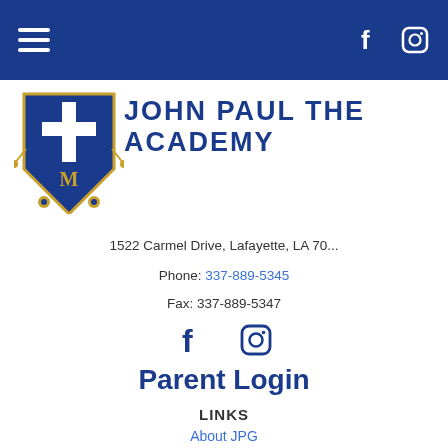Navigation bar with hamburger menu and social icons (Facebook, Instagram)
[Figure (logo): John Paul the Great Academy shield crest logo with cross, M letter, keys, and gold/blue colors]
JOHN PAUL THE ACADEMY
1522 Carmel Drive, Lafayette, LA 70...
Phone: 337-889-5345
Fax: 337-889-5347
[Figure (logo): Facebook and Instagram social media icons]
Parent Login
LINKS
About JPG